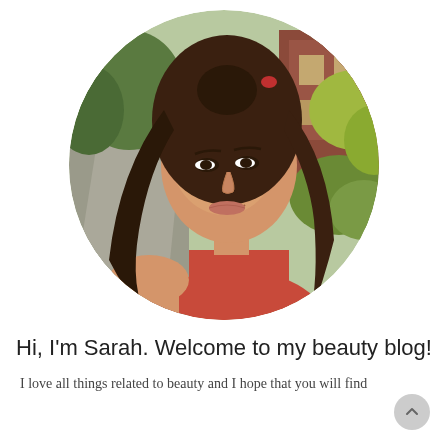[Figure (photo): Circular cropped portrait photo of a young Asian woman with long dark brown hair, smiling, wearing a red patterned top. Background shows a tree-lined sidewalk and brick building with greenery.]
Hi, I'm Sarah. Welcome to my beauty blog!
I love all things related to beauty and I hope that you will find